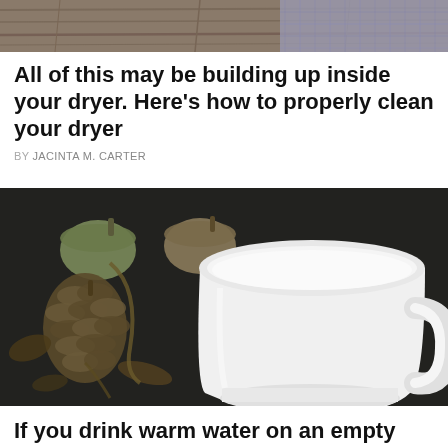[Figure (photo): Top partial image showing textured fabric or knitted material in grey/purple tones on a wooden surface]
All of this may be building up inside your dryer. Here's how to properly clean your dryer
BY JACINTA M. CARTER
[Figure (photo): White ceramic cup/mug on a dark background surrounded by dried acorns, pine cones, and dried botanical elements]
If you drink warm water on an empty stomach, this is what will happen to your